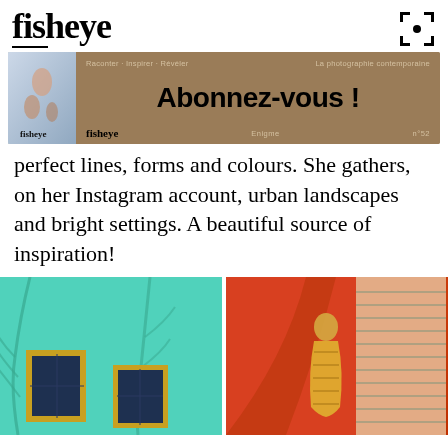fisheye
[Figure (photo): Fisheye magazine subscription advertisement banner with tan/brown background, showing magazine cover on left and 'Abonnez-vous!' text with fisheye branding, Enigme n°52]
perfect lines, forms and colours. She gathers, on her Instagram account, urban landscapes and bright settings. A beautiful source of inspiration!
[Figure (photo): Photo of teal/cyan colored building wall with palm tree shadows and two windows with dark frames]
[Figure (photo): Photo of orange/red curved staircase with sunlight and blinds casting shadows, person in yellow dress]